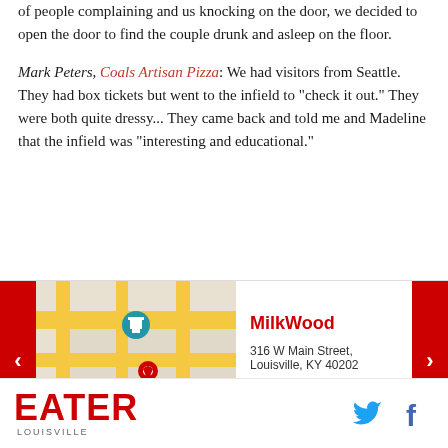of people complaining and us knocking on the door, we decided to open the door to find the couple drunk and asleep on the floor.
Mark Peters, Coals Artisan Pizza: We had visitors from Seattle. They had box tickets but went to the infield to "check it out." They were both quite dressy... They came back and told me and Madeline that the infield was "interesting and educational."
[Figure (map): Street map showing location pin near Angel's Envy D, with teal museum icon nearby]
MilkWood
316 W Main Street, Louisville, KY 40202
502-584-6455
Visit Website
EATER LOUISVILLE